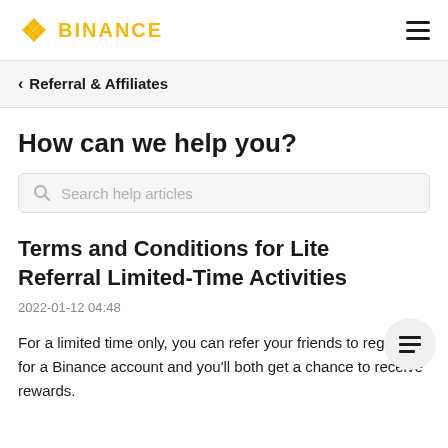BINANCE
< Referral & Affiliates
How can we help you?
Search help articles
Terms and Conditions for Lite Referral Limited-Time Activities
2022-01-12 04:48
For a limited time only, you can refer your friends to register for a Binance account and you'll both get a chance to receive rewards.